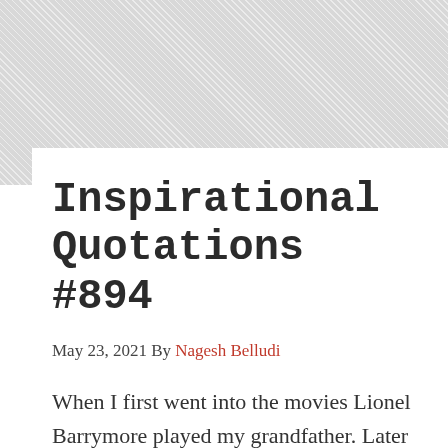Inspirational Quotations #894
May 23, 2021 By Nagesh Belludi
When I first went into the movies Lionel Barrymore played my grandfather. Later he played my father and finally my husband. If he had lived, I'm sure I would have